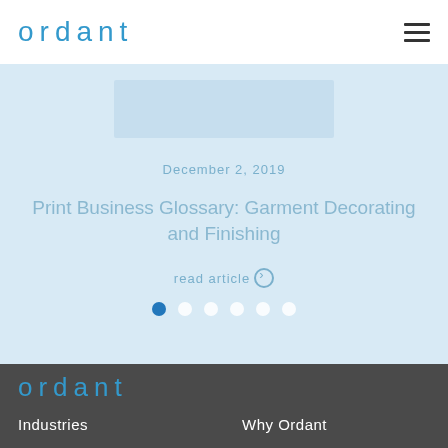ordant
[Figure (screenshot): Website screenshot showing Ordant blog article slider with faded banner image, date December 2, 2019, article title 'Print Business Glossary: Garment Decorating and Finishing', read article link, and 6 navigation dots]
[Figure (logo): Ordant logo in footer dark bar, blue color, light weight font]
Industries
Why Ordant